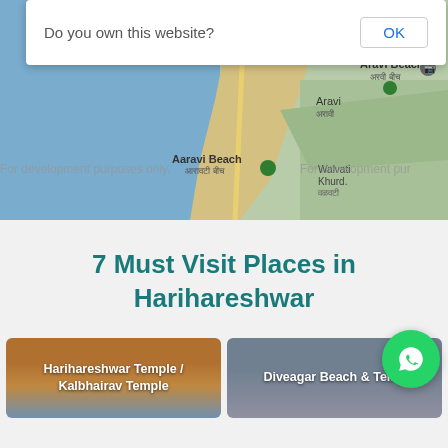[Figure (screenshot): Google Maps screenshot showing Aravi Beach (अरवी बीच), Swaraj exotica the nature resort, Aravi (अरावी), Aaravi Beach (आरावटी बीच), Walvati Khurd location, with 'For development purposes only' watermark overlaid. A dialog box at the top reads 'Do you own this website?' with an OK button.]
7 Must Visit Places in Harihareshwar
[Figure (photo): Photo thumbnail labeled 'Harihareshwar Temple / Kalbhairav Temple' showing orange temple structure with blue sky]
[Figure (photo): Photo thumbnail labeled 'Diveagar Beach & Temple' showing beach/sea scene]
[Figure (screenshot): WhatsApp floating chat button (green circle with white phone/chat icon) in bottom right corner]